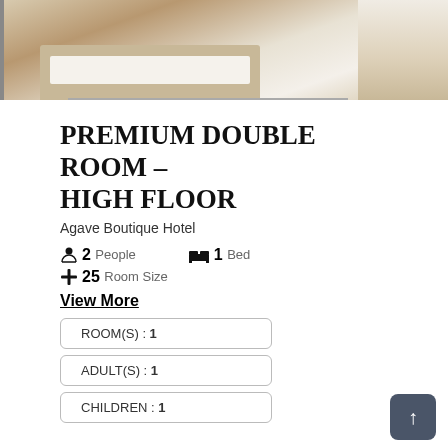[Figure (photo): Hotel room photo showing beds with wooden frame and white bedding, two beds visible]
PREMIUM DOUBLE ROOM – HIGH FLOOR
Agave Boutique Hotel
2 People   1 Bed
25 Room Size
View More
ROOM(S) : 1
ADULT(S) : 1
CHILDREN : 1